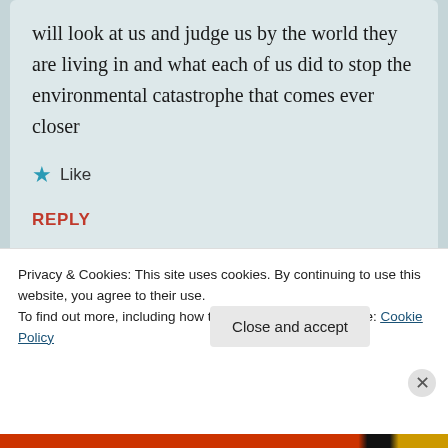will look at us and judge us by the world they are living in and what each of us did to stop the environmental catastrophe that comes ever closer
★ Like
REPLY
Privacy & Cookies: This site uses cookies. By continuing to use this website, you agree to their use.
To find out more, including how to control cookies, see here: Cookie Policy
Close and accept